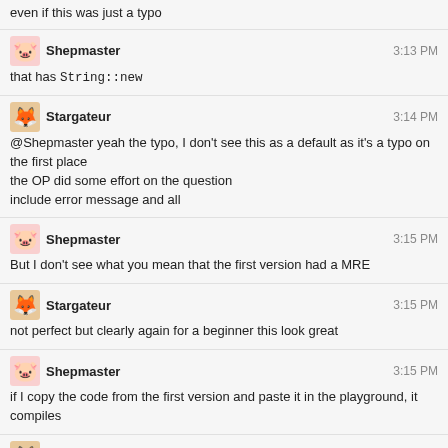even if this was just a typo
Shepmaster 3:13 PM
that has String::new
Stargateur 3:14 PM
@Shepmaster yeah the typo, I don't see this as a default as it's a typo on the first place the OP did some effort on the question
include error message and all
Shepmaster 3:15 PM
But I don't see what you mean that the first version had a MRE
Stargateur 3:15 PM
not perfect but clearly again for a beginner this look great
Shepmaster 3:15 PM
if I copy the code from the first version and paste it in the playground, it compiles
Stargateur 3:16 PM
@Shepmaster well, it's has code, and the error message include the problem so the question itself contains all information to conclude to a typo
Shepmaster 3:16 PM
That much is true
Stargateur 3:21 PM
I wonder how many people confuse String and include string as dependancy